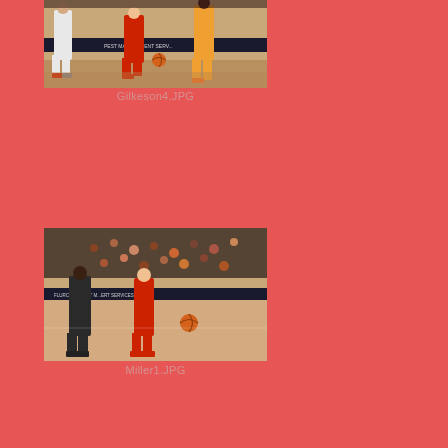[Figure (photo): Basketball game action photo showing players on court with 'Pest Management Services' advertising banner visible. Players in red and white uniforms.]
Gilkeson4.JPG
[Figure (photo): Basketball game action photo showing players on court with 'Pest Management Services' advertising banner visible. Players in red and white uniforms, crowded arena in background.]
Miller1.JPG